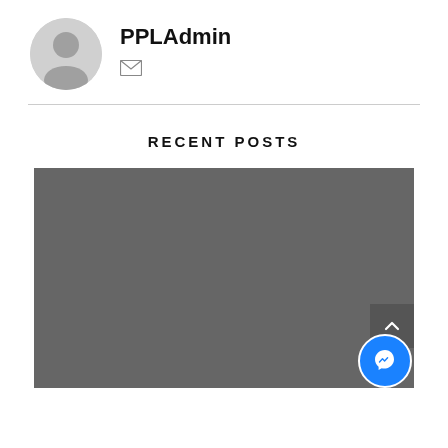[Figure (illustration): User avatar circle with generic person silhouette icon in grey]
PPLAdmin
[Figure (illustration): Envelope/mail icon]
RECENT POSTS
[Figure (photo): Dark grey image placeholder (loading or blank image area)]